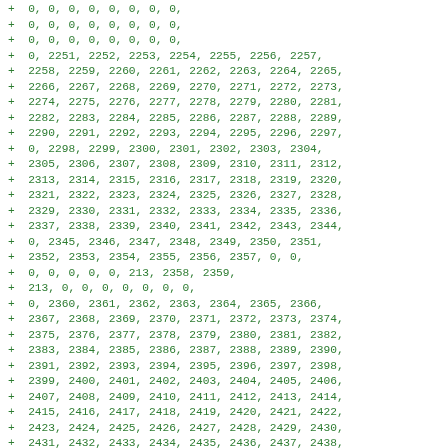+ 0, 0, 0, 0, 0, 0, 0, 0,
+ 0, 0, 0, 0, 0, 0, 0, 0,
+ 0, 0, 0, 0, 0, 0, 0, 0,
+ 0, 2251, 2252, 2253, 2254, 2255, 2256, 2257,
+ 2258, 2259, 2260, 2261, 2262, 2263, 2264, 2265,
+ 2266, 2267, 2268, 2269, 2270, 2271, 2272, 2273,
+ 2274, 2275, 2276, 2277, 2278, 2279, 2280, 2281,
+ 2282, 2283, 2284, 2285, 2286, 2287, 2288, 2289,
+ 2290, 2291, 2292, 2293, 2294, 2295, 2296, 2297,
+ 0, 2298, 2299, 2300, 2301, 2302, 2303, 2304,
+ 2305, 2306, 2307, 2308, 2309, 2310, 2311, 2312,
+ 2313, 2314, 2315, 2316, 2317, 2318, 2319, 2320,
+ 2321, 2322, 2323, 2324, 2325, 2326, 2327, 2328,
+ 2329, 2330, 2331, 2332, 2333, 2334, 2335, 2336,
+ 2337, 2338, 2339, 2340, 2341, 2342, 2343, 2344,
+ 0, 2345, 2346, 2347, 2348, 2349, 2350, 2351,
+ 2352, 2353, 2354, 2355, 2356, 2357, 0, 0,
+ 0, 0, 0, 0, 0, 213, 2358, 2359,
+ 213, 0, 0, 0, 0, 0, 0, 0,
+ 0, 2360, 2361, 2362, 2363, 2364, 2365, 2366,
+ 2367, 2368, 2369, 2370, 2371, 2372, 2373, 2374,
+ 2375, 2376, 2377, 2378, 2379, 2380, 2381, 2382,
+ 2383, 2384, 2385, 2386, 2387, 2388, 2389, 2390,
+ 2391, 2392, 2393, 2394, 2395, 2396, 2397, 2398,
+ 2399, 2400, 2401, 2402, 2403, 2404, 2405, 2406,
+ 2407, 2408, 2409, 2410, 2411, 2412, 2413, 2414,
+ 2415, 2416, 2417, 2418, 2419, 2420, 2421, 2422,
+ 2423, 2424, 2425, 2426, 2427, 2428, 2429, 2430,
+ 2431, 2432, 2433, 2434, 2435, 2436, 2437, 2438,
+ 2439, 2440, 2441, 2442, 2443, 2444, 2445, 2446,